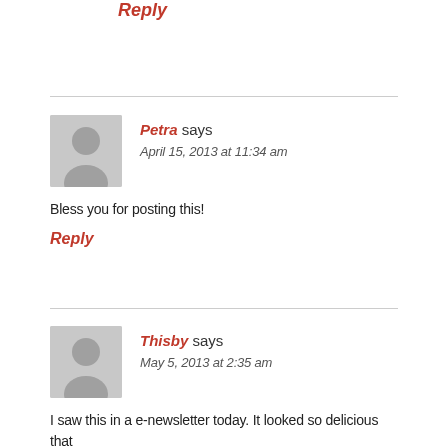Reply
Petra says
April 15, 2013 at 11:34 am

Bless you for posting this!

Reply
Thisby says
May 5, 2013 at 2:35 am

I saw this in a e-newsletter today. It looked so delicious that